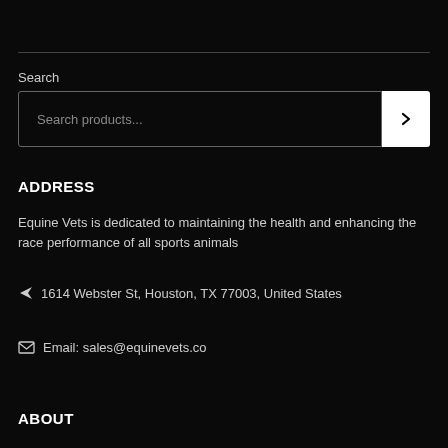Search
Search products...
ADDRESS
Equine Vets is dedicated to maintaining the health and enhancing the race performance of all sports animals
1614 Webster St, Houston, TX 77003, United States
Email: sales@equinevets.co
ABOUT